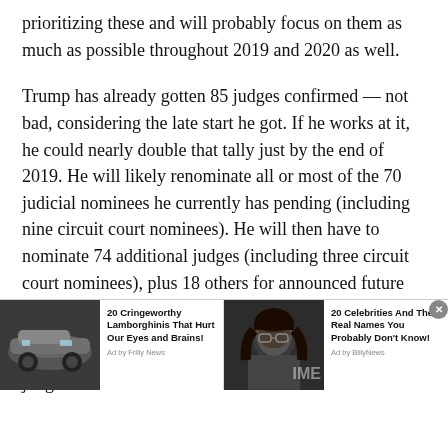prioritizing these and will probably focus on them as much as possible throughout 2019 and 2020 as well.
Trump has already gotten 85 judges confirmed — not bad, considering the late start he got. If he works at it, he could nearly double that tally just by the end of 2019. He will likely renominate all or most of the 70 judicial nominees he currently has pending (including nine circuit court nominees). He will then have to nominate 74 additional judges (including three circuit court nominees), plus 18 others for announced future retirements coming up in 2019.
This will be Trump's longest legacy — many of the judges he
[Figure (infographic): Advertisement banner with two sponsored content items side by side. Left: image of a dark Lamborghini car with headline '20 Cringeworthy Lamborghinis That Hurt Our Eyes and Brains!' by Frilly News. Right: image of a person with glasses and headline '20 Celebrities And Their Real Names You Probably Don't Know!' by BillyNews. A close (X) button appears in the upper right corner of the banner.]